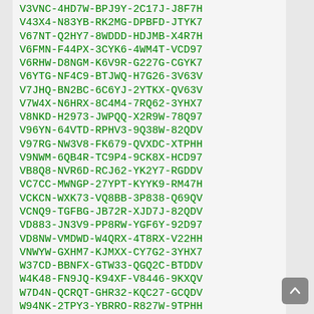V3VNC-4HD7W-BPJ9Y-2C17J-J8F7H
V43X4-N83YB-RK2MG-DPBFD-JTYK7
V67NT-Q2HY7-8WDDD-HDJMB-X4R7H
V6FMN-F44PX-3CYK6-4WM4T-VCD97
V6RHW-D8NGM-K6V9R-G227G-CGYK7
V6YTG-NF4C9-BTJWQ-H7G26-3V63V
V7JHQ-BN2BC-6C6YJ-2YTKX-QV63V
V7W4X-N6HRX-8C4M4-7RQ62-3YHX7
V8NKD-H2973-JWPQQ-X2R9W-78Q97
V96YN-64VTD-RPHV3-9Q38W-82QDV
V97RG-NW3V8-FK679-QVXDC-XTPHH
V9NWM-6QB4R-TC9P4-9CK8X-HCD97
VB8Q8-NVR6D-RCJ62-YK2Y7-RGDDV
VC7CC-MWNGP-27YPT-KYYK9-RM47H
VCKCN-WXK73-VQ8BB-3P838-Q69QV
VCNQ9-TGFBG-JB72R-XJD7J-82QDV
VD883-JN3V9-PP8RW-YGF6Y-92D97
VD8NW-VMDWD-W4QRX-4T8RX-V22HH
VNWYW-GXHM7-KJMXX-CY7G2-3YHX7
W37CD-BBNFX-GTW33-QGQ2C-BTDDV
W4K48-FN9JQ-K94XF-V8446-9KXQV
W7D4N-QCRQT-GHR32-KQC27-GCQDV
W94NK-2TPY3-YBRRO-R827W-9TPHH